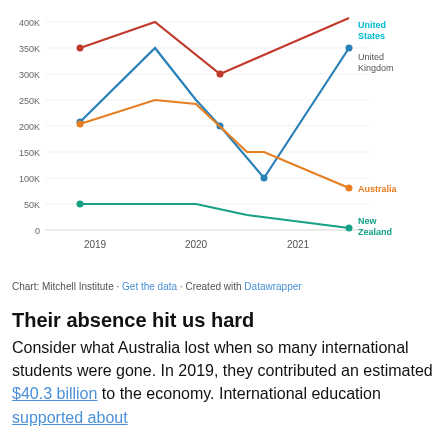[Figure (line-chart): International student arrivals by destination]
Chart: Mitchell Institute · Get the data · Created with Datawrapper
Their absence hit us hard
Consider what Australia lost when so many international students were gone. In 2019, they contributed an estimated $40.3 billion to the economy. International education supported about